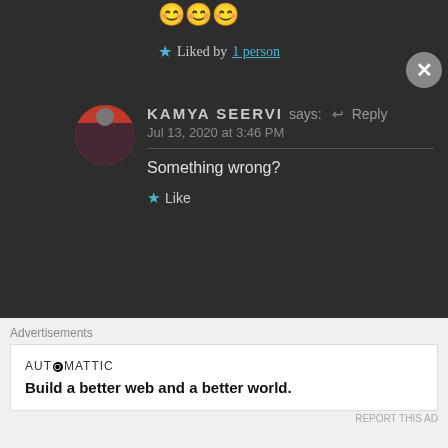😊😊😊
★ Liked by 1 person
KAMYA SEERVI says: ↩ Reply
Jul 13, 2020 at 3:46 PM
Something wrong?
★ Like
THE BOLD GIRL says: Reply
Advertisements
AUTOMATTIC
Build a better web and a better world.